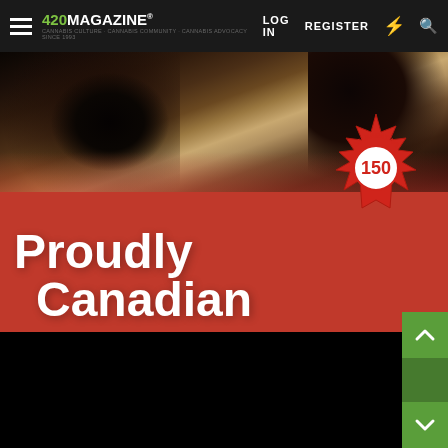420 MAGAZINE — LOG IN  REGISTER
[Figure (photo): Close-up dark photo of what appears to be an animal, overlaid on a red background with text 'Proudly Canadian' and a Canadian maple leaf badge celebrating 150 years]
Proudly Canadian
[Figure (logo): Canadian maple leaf badge with text 'CELEBRATING 150']